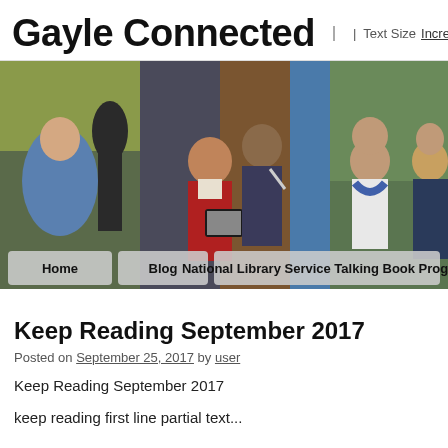Gayle Connected | Text Size Increase Decrease
[Figure (photo): Hero banner photo collage showing multiple people including a woman in a blue jacket seated outdoors near a statue, a young girl in school uniform using a tablet with an adult helping her, a woman with a blue scarf speaking with another person, and a blonde woman outdoors. Navigation buttons: Home, Blog, National Library Service Talking Book Program overlaid at bottom.]
Keep Reading September 2017
Posted on September 25, 2017 by user
Keep Reading September 2017
keep reading first line partial text...